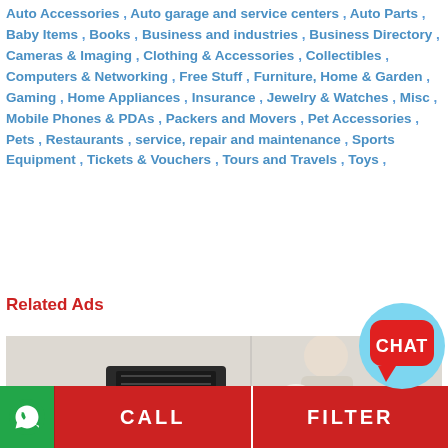Auto Accessories , Auto garage and service centers , Auto Parts , Baby Items , Books , Business and industries , Business Directory , Cameras & Imaging , Clothing & Accessories , Collectibles , Computers & Networking , Free Stuff , Furniture, Home & Garden , Gaming , Home Appliances , Insurance , Jewelry & Watches , Misc , Mobile Phones & PDAs , Packers and Movers , Pet Accessories , Pets , Restaurants , service, repair and maintenance , Sports Equipment , Tickets & Vouchers , Tours and Travels , Toys ,
Related Ads
[Figure (photo): Photo of a mechanic or technician working on automotive equipment, with a CHAT bubble overlay in the top right corner]
CALL   FILTER